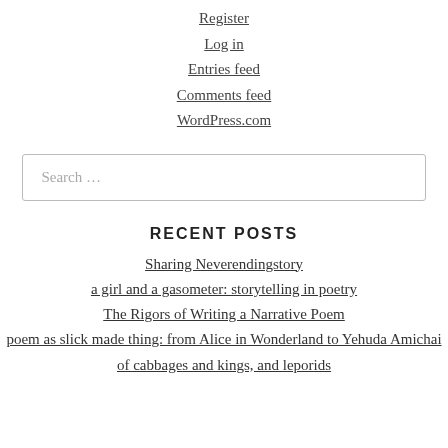Register
Log in
Entries feed
Comments feed
WordPress.com
Search …
RECENT POSTS
Sharing Neverendingstory
a girl and a gasometer: storytelling in poetry
The Rigors of Writing a Narrative Poem
poem as slick made thing: from Alice in Wonderland to Yehuda Amichai
of cabbages and kings, and leporids